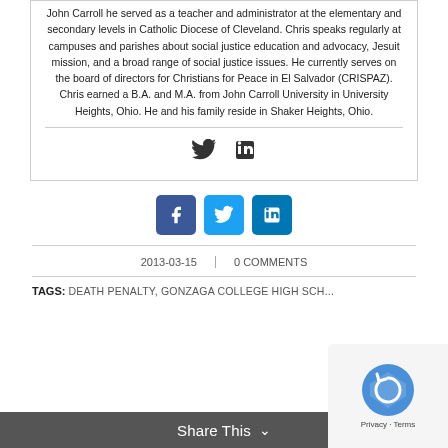John Carroll he served as a teacher and administrator at the elementary and secondary levels in Catholic Diocese of Cleveland. Chris speaks regularly at campuses and parishes about social justice education and advocacy, Jesuit mission, and a broad range of social justice issues. He currently serves on the board of directors for Christians for Peace in El Salvador (CRISPAZ). Chris earned a B.A. and M.A. from John Carroll University in University Heights, Ohio. He and his family reside in Shaker Heights, Ohio.
[Figure (infographic): Twitter and LinkedIn social icons displayed inline]
[Figure (infographic): Facebook, Twitter, and LinkedIn share buttons (colored squares with white icons)]
2013-03-15
0 COMMENTS
TAGS: DEATH PENALTY, GONZAGA COLLEGE HIGH SCH...
Share This